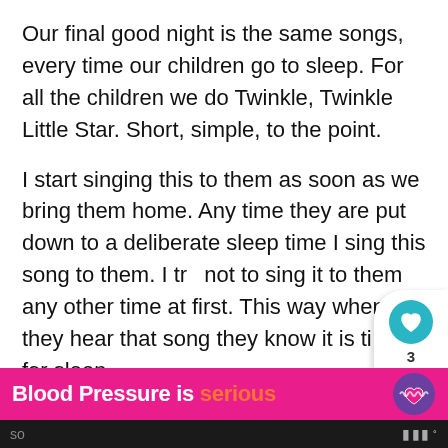Our final good night is the same songs, every time our children go to sleep.  For all the children we do Twinkle, Twinkle Little Star.  Short, simple, to the point.
I start singing this to them as soon as we bring them home.  Any time they are put down to a deliberate sleep time I sing this song to them.  I try not to sing it to them any other time at first.  This way when they hear that song they know it is time for sleep.
If you don't like to sing it can be a final s… or a last series of kisses.  It just needs to be so…
[Figure (infographic): A circular teal/cyan heart button with like count of 3, and a share button below it, forming a vertical social sharing widget on the right edge.]
[Figure (infographic): A 'What's Next' card in the bottom right showing a thumbnail of a baby and the title 'How To Sleep Train Twins i...']
[Figure (infographic): Pink/magenta advertisement banner reading 'Blood Pressure is serious' with an orange heart-pulse icon on the right.]
so…    [dark bar with logo]